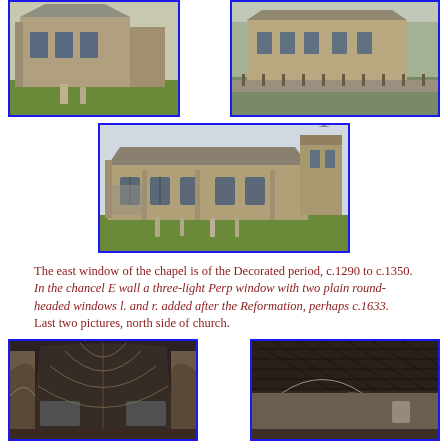[Figure (photo): Exterior stone church building, left side view, green lawn]
[Figure (photo): Exterior stone church building, right side view with stone wall and fence]
[Figure (photo): North side of church exterior, stone walls with Gothic windows and gravestones on green lawn]
The east window of the chapel is of the Decorated period, c.1290 to c.1350. In the chancel E wall a three-light Perp window with two plain round-headed windows l. and r. added after the Reformation, perhaps c.1633.
Last two pictures, north side of church.
[Figure (photo): Interior of church nave showing arched wooden ceiling and stone arches]
[Figure (photo): Interior of church showing stone arches and ceiling structure]